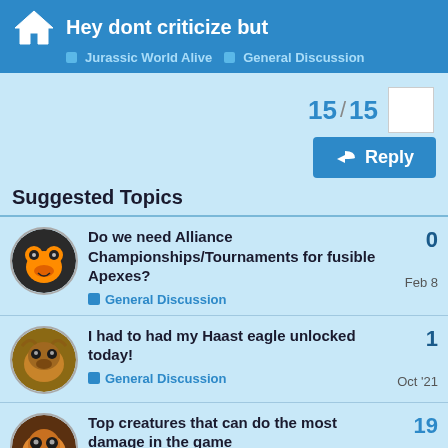Hey dont criticize but — Jurassic World Alive > General Discussion
15 / 15
Reply
Suggested Topics
Do we need Alliance Championships/Tournaments for fusible Apexes? — General Discussion — Feb 8 — 0 replies
I had to had my Haast eagle unlocked today! — General Discussion — Oct '21 — 1 reply
Top creatures that can do the most damage in the game — 19 replies